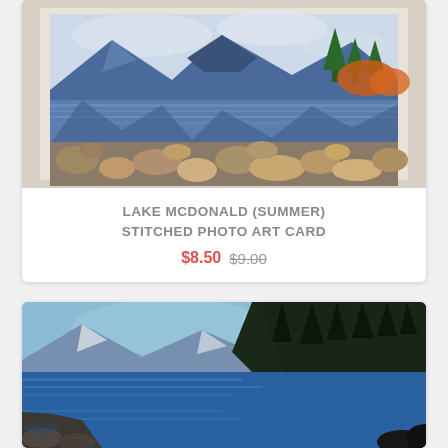[Figure (photo): Top product card showing a stitched photo art card of Lake McDonald in summer — a framed textile artwork depicting a mountain lake scene with blue mountains, pine trees, orange-tinted foliage, and a rocky shoreline with smooth rounded stones in the foreground.]
LAKE MCDONALD (SUMMER) STITCHED PHOTO ART CARD
$8.50 $9.00
[Figure (photo): Bottom product card (partially visible) showing a stitched photo art card of a lake scene — dark forested shoreline on the right, blue reflective water, mountains in the distance under a blue-grey sky.]